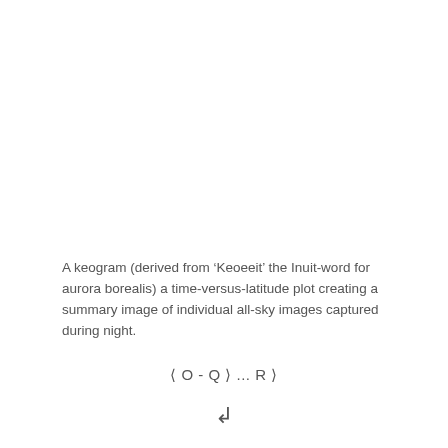A keogram (derived from ‘Keoeeit’ the Inuit-word for aurora borealis) a time-versus-latitude plot creating a summary image of individual all-sky images captured during night.
⟨ O - Q ⟩ ... R ⟩
↲